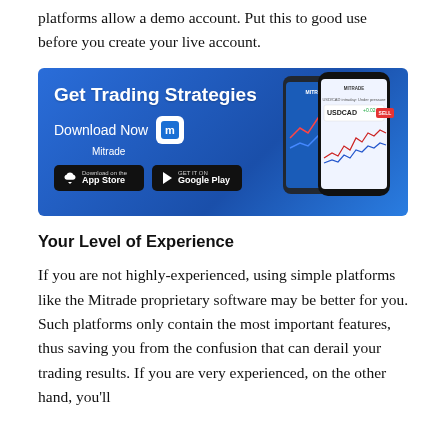platforms allow a demo account. Put this to good use before you create your live account.
[Figure (infographic): Mitrade app advertisement banner with blue gradient background. Text reads 'Get Trading Strategies' and 'Download Now' with Mitrade logo. Shows App Store and Google Play download buttons. Right side shows smartphone mockups displaying trading charts and USDCAD trading interface.]
Your Level of Experience
If you are not highly-experienced, using simple platforms like the Mitrade proprietary software may be better for you.  Such platforms only contain the most important features, thus saving you from the confusion that can derail your trading results. If you are very experienced, on the other hand, you'll